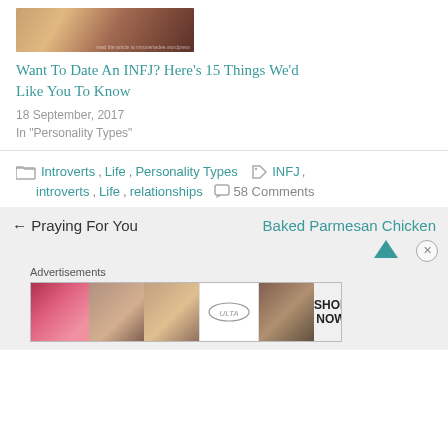[Figure (photo): Thumbnail image of two people, warm tones]
Want To Date An INFJ? Here's 15 Things We'd Like You To Know
18 September, 2017
In "Personality Types"
Introverts , Life , Personality Types INFJ , introverts , Life , relationships 58 Comments
← Praying For You
Baked Parmesan Chicken
Advertisements
[Figure (photo): Ulta beauty advertisement banner with makeup images and SHOP NOW text]